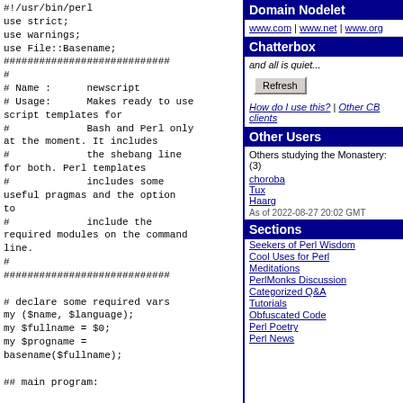#!/usr/bin/perl
use strict;
use warnings;
use File::Basename;
############################
#
# Name :      newscript
# Usage:      Makes ready to use script templates for
#             Bash and Perl only at the moment. It includes
#             the shebang line for both. Perl templates
#             includes some useful pragmas and the option to
#             include the required modules on the command line.
#
############################

# declare some required vars
my ($name, $language);
my $fullname = $0;
my $progname =
basename($fullname);

## main program:

print "Name of the new script
Domain Nodelet
www.com | www.net | www.org
Chatterbox
and all is quiet...
Refresh
How do I use this? | Other CB clients
Other Users
Others studying the Monastery: (3)
choroba
Tux
Haarg
As of 2022-08-27 20:02 GMT
Sections
Seekers of Perl Wisdom
Cool Uses for Perl
Meditations
PerlMonks Discussion
Categorized Q&A
Tutorials
Obfuscated Code
Perl Poetry
Perl News